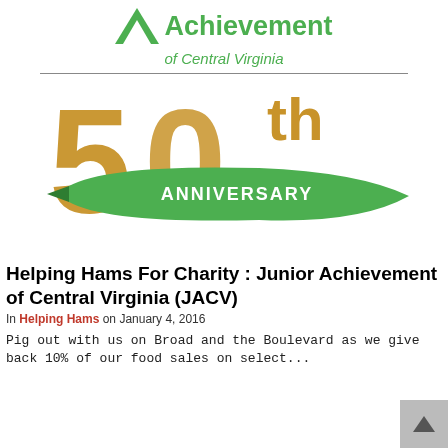[Figure (logo): Junior Achievement of Central Virginia logo with green triangle and text 'Achievement of Central Virginia']
[Figure (illustration): 50th Anniversary logo with large gold '50th' text and green ribbon banner reading 'ANNIVERSARY']
Helping Hams For Charity : Junior Achievement of Central Virginia (JACV)
In Helping Hams on January 4, 2016
Pig out with us on Broad and the Boulevard as we give back 10% of our food sales on select...